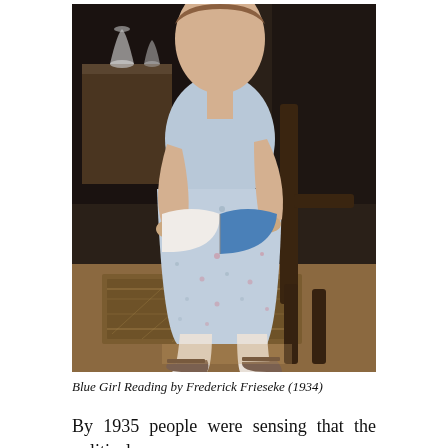[Figure (illustration): Painting of a young girl seated on a wooden chair, wearing a light blue floral dress, holding an open book with a blue cover. She sits on a patterned rug in an interior setting with a dark background. Her legs are crossed at the ankle wearing sandals.]
Blue Girl Reading by Frederick Frieseke (1934)
By 1935 people were sensing that the political